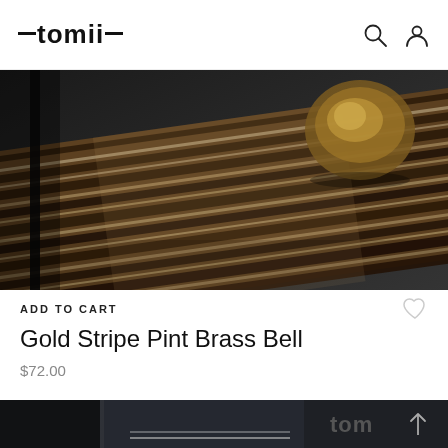tomii
[Figure (photo): Close-up photo of a dark striped wooden tray with a glass object resting on it, warm lighting]
ADD TO CART
Gold Stripe Pint Brass Bell
$72.00
[Figure (photo): Dark background product display with tomii logo and metal bar product, partially visible]